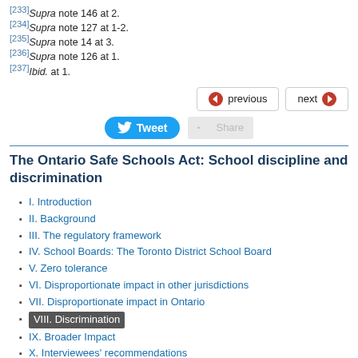[233] Supra note 146 at 2.
[234] Supra note 127 at 1-2.
[235] Supra note 14 at 3.
[236] Supra note 126 at 1.
[237] Ibid. at 1.
The Ontario Safe Schools Act: School discipline and discrimination
I. Introduction
II. Background
III. The regulatory framework
IV. School Boards: The Toronto District School Board
V. Zero tolerance
VI. Disproportionate impact in other jurisdictions
VII. Disproportionate impact in Ontario
VIII. Discrimination
IX. Broader Impact
X. Interviewees' recommendations